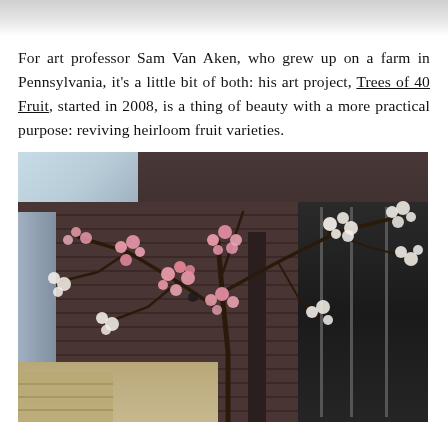For art professor Sam Van Aken, who grew up on a farm in Pennsylvania, it's a little bit of both: his art project, Trees of 40 Fruit, started in 2008, is a thing of beauty with a more practical purpose: reviving heirloom fruit varieties.
[Figure (photo): A flowering tree with pink and white blossoms photographed in front of a dark brick building with glass panels. The tree has bare branches with clusters of pink and white blooms. The building in the background has dark reddish-brown brick walls and large dark glass windows/panels on the right side. Blue sky is partially visible in the upper left corner.]